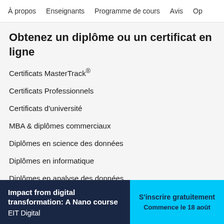À propos  Enseignants  Programme de cours  Avis  Op
Obtenez un diplôme ou un certificat en ligne
Certificats MasterTrack®
Certificats Professionnels
Certificats d'université
MBA & diplômes commerciaux
Diplômes en science des données
Diplômes en informatique
Diplômes en analyse des données
Diplômes de santé publique
Diplômes en sciences sociales
Diplô…
Impact from digital transformation: A Nano course
EIT Digital
S'inscrire gratuitement
Commence le 18 août